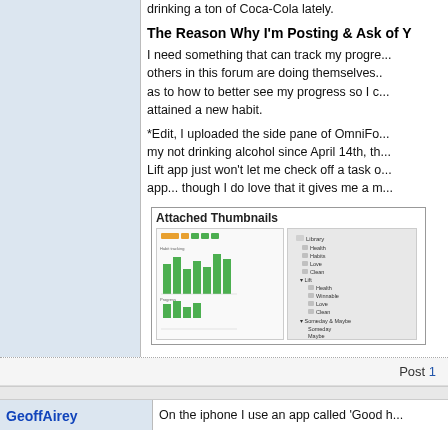drinking a ton of Coca-Cola lately.
The Reason Why I'm Posting & Ask of Y
I need something that can track my progress, others in this forum are doing themselves. as to how to better see my progress so I c... attained a new habit.
*Edit, I uploaded the side pane of OmniFo... my not drinking alcohol since April 14th, th... Lift app just won't let me check off a task o... app... though I do love that it gives me a m...
[Figure (screenshot): Attached Thumbnails box containing two app screenshots - one showing a habit tracking app with colored bar charts, and one showing OmniFocus side pane with a library tree structure]
Post 1
GeoffAirey
On the iphone I use an app called 'Good h...